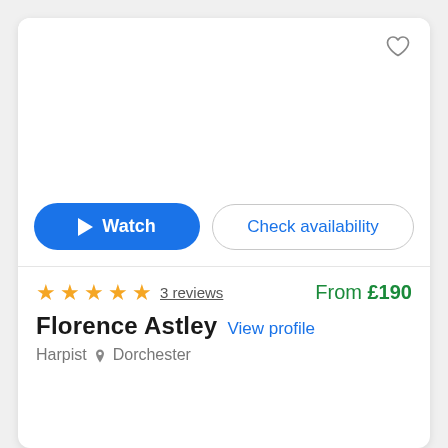[Figure (screenshot): Blank white image area for a vendor/performer profile card with a heart/favorite icon in the top right corner]
Watch
Check availability
★★★★★ 3 reviews   From £190
Florence Astley   View profile
Harpist  📍 Dorchester